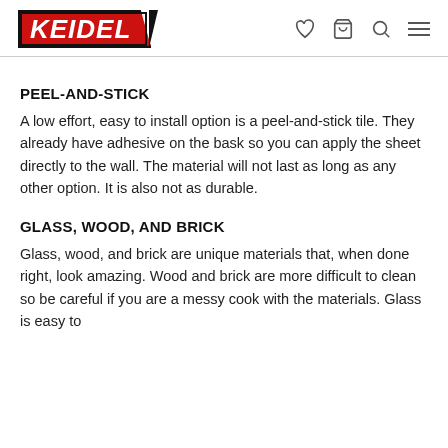KEIDEL
PEEL-AND-STICK
A low effort, easy to install option is a peel-and-stick tile. They already have adhesive on the bask so you can apply the sheet directly to the wall. The material will not last as long as any other option. It is also not as durable.
GLASS, WOOD, AND BRICK
Glass, wood, and brick are unique materials that, when done right, look amazing. Wood and brick are more difficult to clean so be careful if you are a messy cook with the materials. Glass is easy to